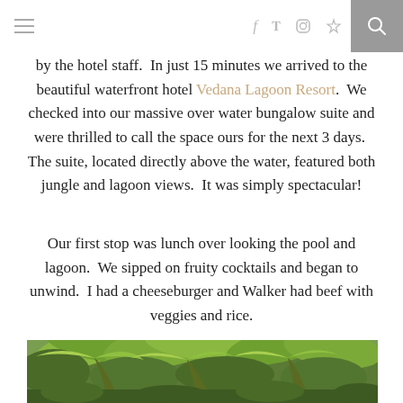≡  f  twitter  instagram  pinterest  🔍
by the hotel staff.  In just 15 minutes we arrived to the beautiful waterfront hotel Vedana Lagoon Resort.  We checked into our massive over water bungalow suite and were thrilled to call the space ours for the next 3 days.  The suite, located directly above the water, featured both jungle and lagoon views.  It was simply spectacular!
Our first stop was lunch over looking the pool and lagoon.  We sipped on fruity cocktails and began to unwind.  I had a cheeseburger and Walker had beef with veggies and rice.
[Figure (photo): Lush tropical jungle scene with dense palm trees and green foliage]